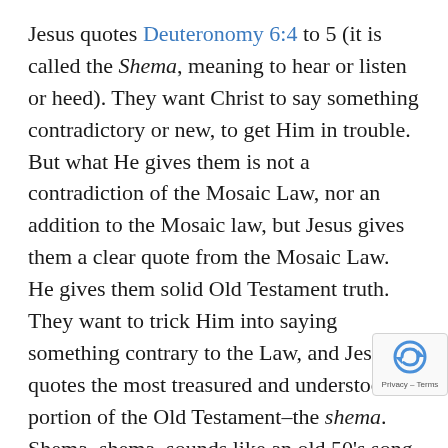Jesus quotes Deuteronomy 6:4 to 5 (it is called the Shema, meaning to hear or listen or heed). They want Christ to say something contradictory or new, to get Him in trouble. But what He gives them is not a contradiction of the Mosaic Law, nor an addition to the Mosaic law, but Jesus gives them a clear quote from the Mosaic Law. He gives them solid Old Testament truth. They want to trick Him into saying something contrary to the Law, and Jesus quotes the most treasured and understood portion of the Old Testament–the shema. Shema, shema–sounds like an old 50's song, shema, shema, da da da da da dax2. This was, and is, the great confession of faith of Judaism.
What is the foremost, first, or most important command? The shema–every orthodox Jew at the time, who was faithful to his religion, would recite the shema audibly twice a day, once in the morning